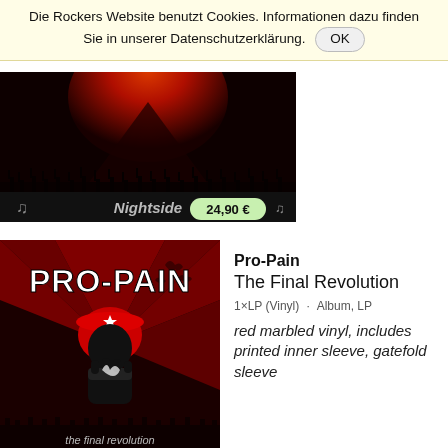Die Rockers Website benutzt Cookies. Informationen dazu finden Sie in unserer Datenschutzerklärung. OK
[Figure (photo): Nightside album cover — dark red volcanic eruption with silhouetted crowd and raised hands, showing price tag 24,90 €]
[Figure (photo): Pro-Pain — The Final Revolution album cover: bold white PRO-PAIN logo, soldier in red beret with star, black fist, red dramatic background with bats. Text at bottom: the final revolution]
Pro-Pain
The Final Revolution
1×LP (Vinyl) · Album, LP
red marbled vinyl, includes printed inner sleeve, gatefold sleeve